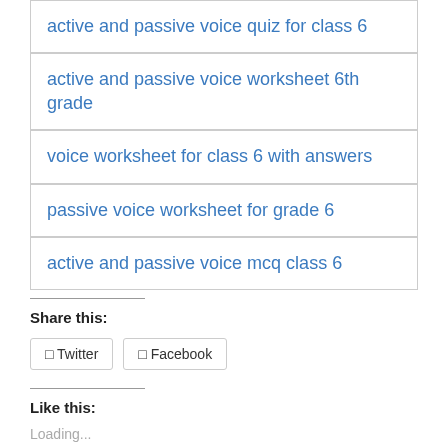active and passive voice quiz for class 6
active and passive voice worksheet 6th grade
voice worksheet for class 6 with answers
passive voice worksheet for grade 6
active and passive voice mcq class 6
Share this:
Twitter
Facebook
Like this:
Loading...